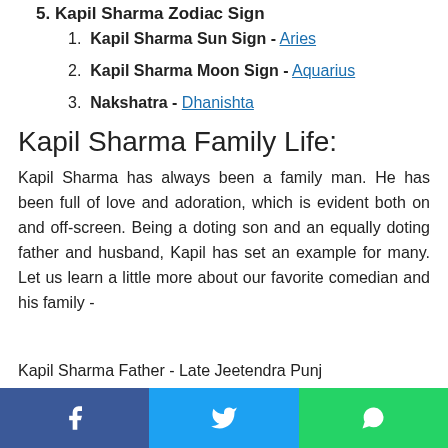5. Kapil Sharma Zodiac Sign
1. Kapil Sharma Sun Sign - Aries
2. Kapil Sharma Moon Sign - Aquarius
3. Nakshatra - Dhanishta
Kapil Sharma Family Life:
Kapil Sharma has always been a family man. He has been full of love and adoration, which is evident both on and off-screen. Being a doting son and an equally doting father and husband, Kapil has set an example for many. Let us learn a little more about our favorite comedian and his family -
Kapil Sharma Father - Late Jeetendra Punj